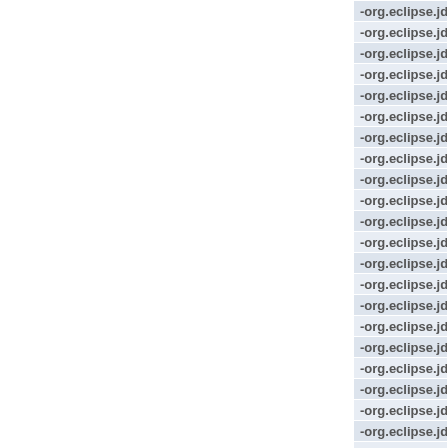| -org.eclipse.jdt.core.formatter.inse |
| -org.eclipse.jdt.core.formatter.insert_n |
| -org.eclipse.jdt.core.formatter.in |
| -org.eclipse.jdt.core.formatt |
| -org.eclipse.jdt.core.formatter.insert_new_l |
| -org.eclipse.jdt.core.formatter.insert |
| -org.eclipse.jdt.core.formatter.inser |
| -org.eclipse.jdt.core.formatter.insert_new_li |
| -org.eclipse.jdt.core.formatter.ins |
| -org.eclipse.jdt.core.formatter.inser |
| -org.eclipse.jdt.core.formatter.insert_n |
| -org.eclipse.jdt.core.formatter.insert |
| -org.eclipse.jdt.core.formatter.insert_ne |
| -org.eclipse.jdt.core.format |
| -org.eclipse.jdt.core.formatter.in |
| -org.eclipse.jdt.core.formatter.ins |
| -org.eclipse.jdt.core.formatter.i |
| -org.eclipse.jdt.core.formatter.ins |
| -org.eclipse.jdt.core.formatter.ins |
| -org.eclipse.jdt.core.formatter.in |
| -org.eclipse.jdt.core.formatter.ins |
| -org.eclipse.eclipse.jdt.core.formatter.insert_ |